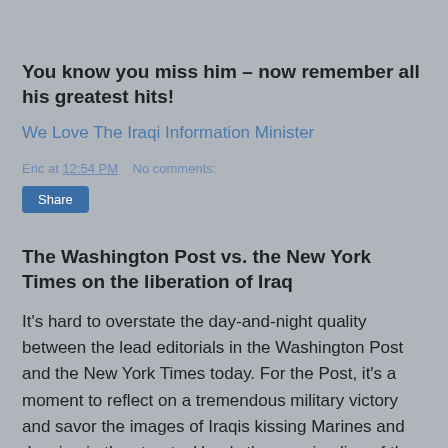You know you miss him – now remember all his greatest hits!
We Love The Iraqi Information Minister
Eric at 12:54 PM    No comments:
Share
The Washington Post vs. the New York Times on the liberation of Iraq
It's hard to overstate the day-and-night quality between the lead editorials in the Washington Post and the New York Times today. For the Post, it's a moment to reflect on a tremendous military victory and savor the images of Iraqis kissing Marines and dancing in the streets. Here's the opening line of the Post's editorial [link text cut]